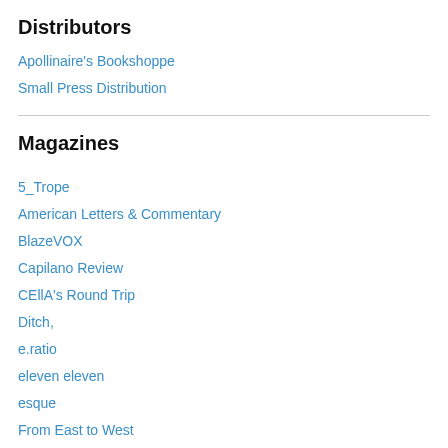Distributors
Apollinaire's Bookshoppe
Small Press Distribution
Magazines
5_Trope
American Letters & Commentary
BlazeVOX
Capilano Review
CEllA's Round Trip
Ditch,
e.ratio
eleven eleven
esque
From East to West
Hamilton Stone Review
Jacket